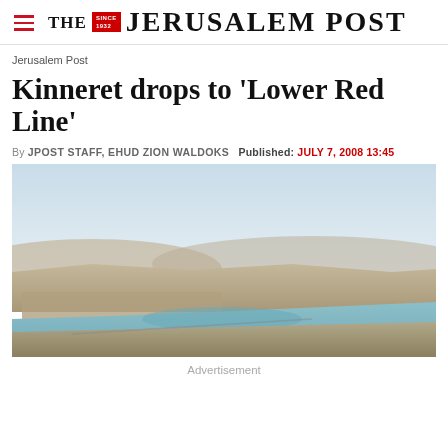THE JERUSALEM POST
Jerusalem Post
Kinneret drops to 'Lower Red Line'
By JPOST STAFF, EHUD ZION WALDOKS   Published: JULY 7, 2008 13:45
[Figure (photo): Aerial photograph of the Kinneret (Sea of Galilee) shoreline showing parched land and the lake with turquoise water, arid hills visible in the background.]
Advertisement